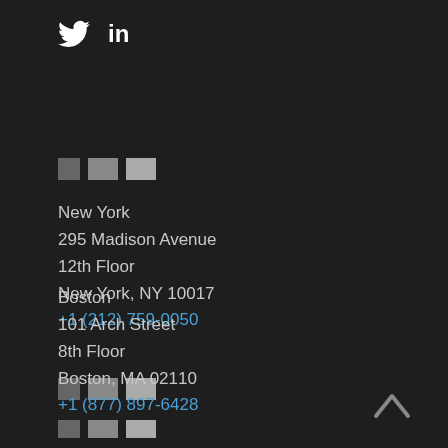[Figure (logo): Twitter bird icon and LinkedIn 'in' text in white, social media icons]
[Figure (other): Three gray color blocks of increasing lightness]
New York
295 Madison Avenue
12th Floor
New York, NY 10017
+1 (212) 759-0050
[Figure (other): Three gray color blocks of increasing lightness]
Boston
101 Arch Street
8th Floor
Boston, MA 02110
+1 (877) 897-6428
[Figure (other): Three gray color blocks of increasing lightness (partially visible at bottom)]
[Figure (other): Upward chevron/caret icon for back to top navigation]